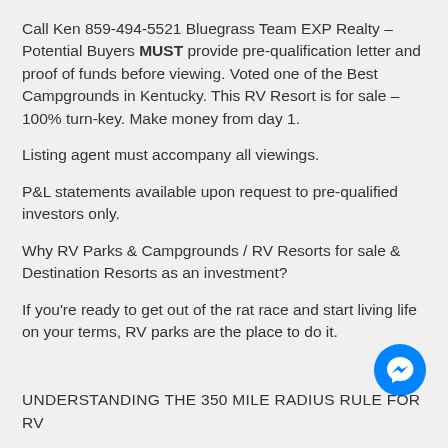Call Ken 859-494-5521 Bluegrass Team EXP Realty – Potential Buyers MUST provide pre-qualification letter and proof of funds before viewing.  Voted one of the Best Campgrounds in Kentucky.  This RV Resort is for sale – 100% turn-key.  Make money from day 1.
Listing agent must accompany all viewings.
P&L statements available upon request to pre-qualified investors only.
Why RV Parks & Campgrounds / RV Resorts for sale & Destination Resorts as an investment?
If you're ready to get out of the rat race and start living life on your terms, RV parks are the place to do it.
[Figure (logo): Blue circular Facebook Messenger icon]
UNDERSTANDING THE 350 MILE RADIUS RULE FOR RV